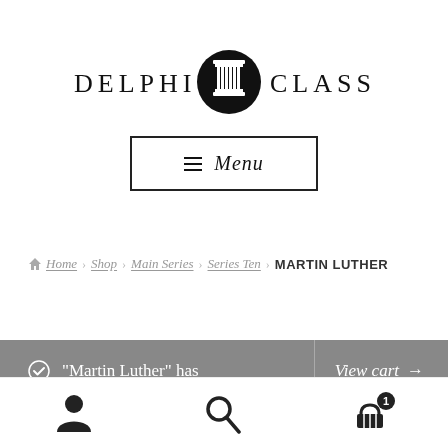[Figure (logo): Delphi Classics logo with column icon between text]
≡  Menu
Home › Shop › Main Series › Series Ten › MARTIN LUTHER
"Martin Luther" has   View cart →
[Figure (illustration): Bottom navigation bar with person icon, search icon, and cart icon with badge '1']